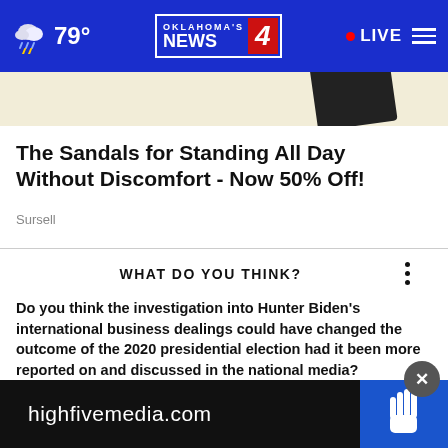Oklahoma's News 4 | 79° | LIVE
[Figure (screenshot): Partial advertisement image showing top of a dark object on beige background]
The Sandals for Standing All Day Without Discomfort - Now 50% Off!
Sursell
WHAT DO YOU THINK?
Do you think the investigation into Hunter Biden's international business dealings could have changed the outcome of the 2020 presidential election had it been more reported on and discussed in the national media?
Yes, I think so
No
No, I don't think so
[Figure (screenshot): Bottom ad banner: highfivemedia.com with hand/high-five icon on blue background]